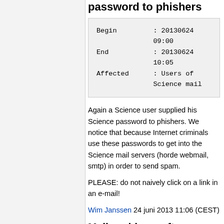password to phishers
| Begin | : | 20130624 09:00 |
| End | : | 20130624 10:05 |
| Affected | : | Users of Science mail |
Again a Science user supplied his Science password to phishers. We notice that because Internet criminals use these passwords to get into the Science mail servers (horde webmail, smtp) in order to send spam.
PLEASE: do not naively click on a link in an e-mail!
Wim Janssen 24 juni 2013 11:06 (CEST)
Mail problems after supplying